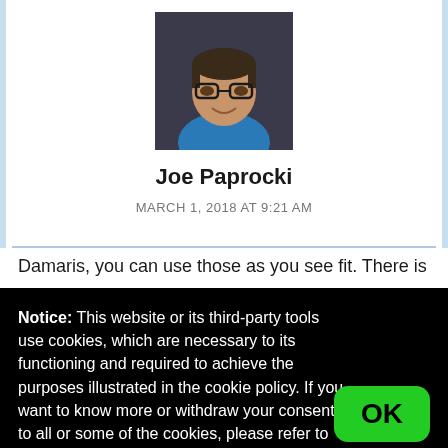[Figure (photo): Profile photo of Joe Paprocki, a man with glasses smiling, wearing a blue shirt, dark background]
Joe Paprocki
MARCH 1, 2018 AT 9:21 AM
Damaris, you can use those as you see fit. There is
Notice: This website or its third-party tools use cookies, which are necessary to its functioning and required to achieve the purposes illustrated in the cookie policy. If you want to know more or withdraw your consent to all or some of the cookies, please refer to the cookie policy.
By closing this banner, scrolling this page, clicking a link or continuing to browse otherwise, you agree to the use of cookies.